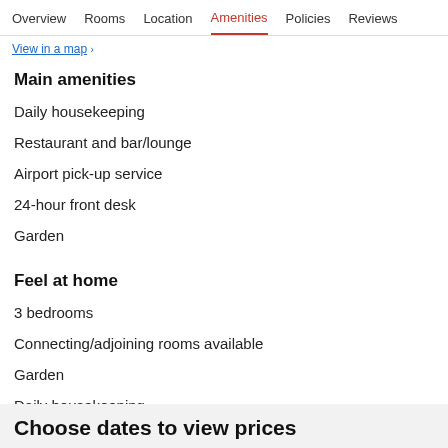Overview  Rooms  Location  Amenities  Policies  Reviews
View in a map →
Main amenities
Daily housekeeping
Restaurant and bar/lounge
Airport pick-up service
24-hour front desk
Garden
Feel at home
3 bedrooms
Connecting/adjoining rooms available
Garden
Daily housekeeping
Free self parking
Choose dates to view prices